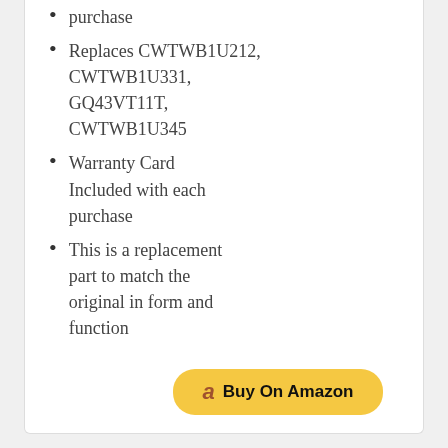purchase
Replaces CWTWB1U212, CWTWB1U331, GQ43VT11T, CWTWB1U345
Warranty Card Included with each purchase
This is a replacement part to match the original in form and function
Buy On Amazon
4. COMPUSTAR